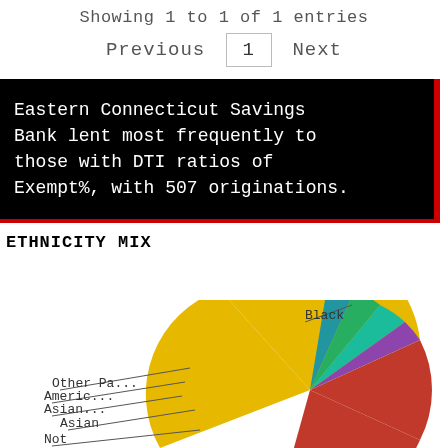Showing 1 to 1 of 1 entries
Previous  1  Next
Eastern Connecticut Savings Bank lent most frequently to those with DTI ratios of Exempt%, with 507 originations.
ETHNICITY MIX
[Figure (pie-chart): Pie chart showing ethnicity mix with slices for Black, Other Pacific Islander, American Indian, Asian (two segments), and Not Hispanic/Latino (large red slice), with a large yellow segment]